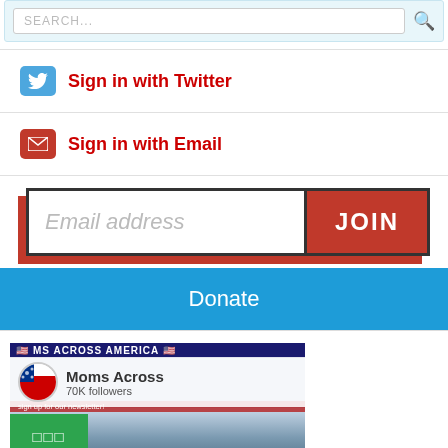[Figure (screenshot): Search bar with magnifying glass icon on light blue background]
Sign in with Twitter
Sign in with Email
[Figure (screenshot): Email address input field with JOIN button, red shadow behind form]
Donate
[Figure (screenshot): Moms Across America social media page preview showing 70K followers with crowd photo]